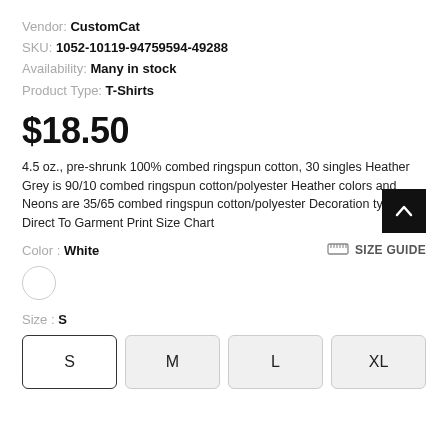Vendor: CustomCat
SKU: 1052-10119-94759594-49288
Availability: Many in stock
Product Type: T-Shirts
$18.50
4.5 oz., pre-shrunk 100% combed ringspun cotton, 30 singles Heather Grey is 90/10 combed ringspun cotton/polyester Heather colors and Neons are 35/65 combed ringspun cotton/polyester Decoration type: Direct To Garment Print Size Chart
Color : White
SIZE GUIDE
Size : S